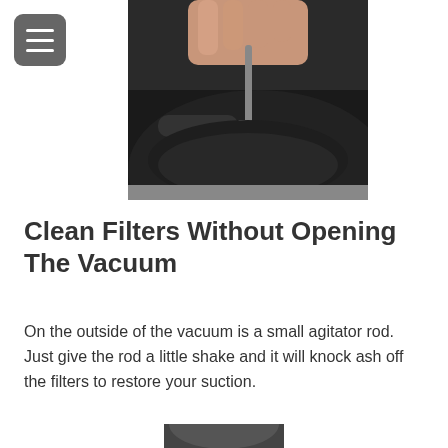[Figure (photo): A hand using a tool (appears to be a vacuum agitator rod) on a black vacuum cleaner component, close-up view.]
Clean Filters Without Opening The Vacuum
On the outside of the vacuum is a small agitator rod. Just give the rod a little shake and it will knock ash off the filters to restore your suction.
[Figure (photo): Partial view of a vacuum cleaner, bottom portion cropped.]